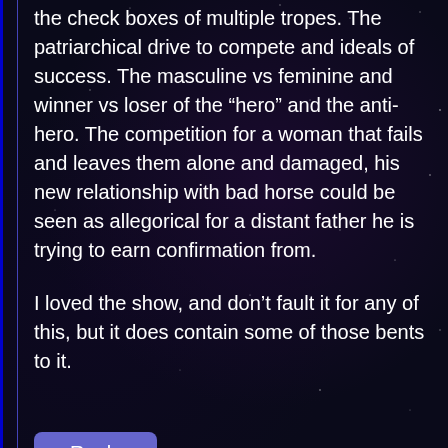the check boxes of multiple tropes. The patriarchical drive to compete and ideals of success. The masculine vs feminine and winner vs loser of the “hero” and the anti-hero. The competition for a woman that fails and leaves them alone and damaged, his new relationship with bad horse could be seen as allegorical for a distant father he is trying to earn confirmation from.
I loved the show, and don’t fault it for any of this, but it does contain some of those bents to it.
Reply